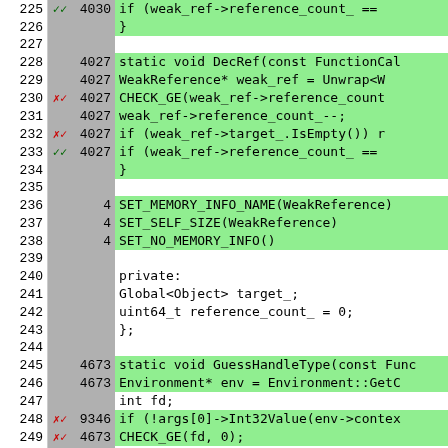[Figure (screenshot): Code coverage viewer showing C++ source lines 225-251 with line numbers, hit counts, coverage markers, and code content. Green-highlighted rows indicate covered lines. Gray columns show hit counts and markers.]